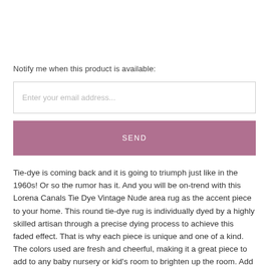Notify me when this product is available:
Enter your email address...
SEND
Tie-dye is coming back and it is going to triumph just like in the 1960s! Or so the rumor has it. And you will be on-trend with this Lorena Canals Tie Dye Vintage Nude area rug as the accent piece to your home. This round tie-dye rug is individually dyed by a highly skilled artisan through a precise dying process to achieve this faded effect. That is why each piece is unique and one of a kind. The colors used are fresh and cheerful, making it a great piece to add to any baby nursery or kid's room to brighten up the room. Add it to any outdoor space to make it more cozy or use in a